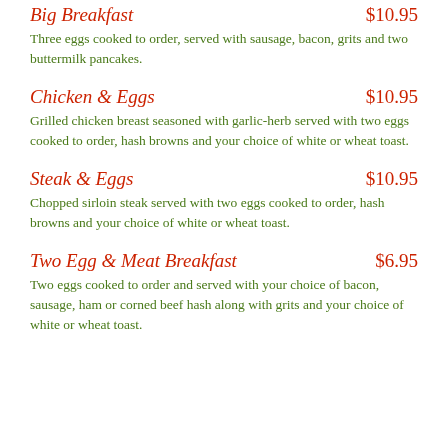Big Breakfast — $10.95
Three eggs cooked to order, served with sausage, bacon, grits and two buttermilk pancakes.
Chicken & Eggs — $10.95
Grilled chicken breast seasoned with garlic-herb served with two eggs cooked to order, hash browns and your choice of white or wheat toast.
Steak & Eggs — $10.95
Chopped sirloin steak served with two eggs cooked to order, hash browns and your choice of white or wheat toast.
Two Egg & Meat Breakfast — $6.95
Two eggs cooked to order and served with your choice of bacon, sausage, ham or corned beef hash along with grits and your choice of white or wheat toast.